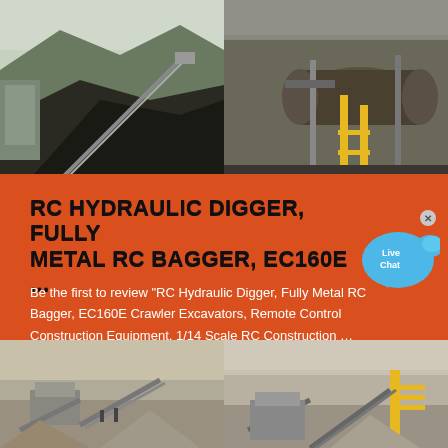[Figure (photo): Top banner showing two industrial/mining site photos side by side: left shows a conveyor belt system with coal piles and machinery, right shows a large industrial drum or kiln with yellow scaffolding and pipes.]
RC HYDRAULIC DIGGER, FULLY METAL RC BAGGER, EC160E ...
Be the first to review "RC Hydraulic Digger, Fully Metal RC Bagger, EC160E Crawler Excavators, Remote Control Construction Equipment, 1/14 Scale RC Construction …"
Read More
[Figure (photo): Bottom banner showing two photos of quarry/aggregate processing equipment side by side: left shows conveyor belts and processing machinery at a gravel site, right shows similar aggregate handling and sorting equipment with yellow structures.]